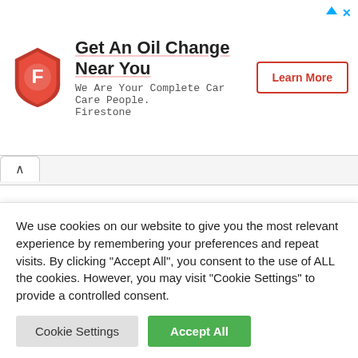[Figure (other): Firestone advertisement banner with shield logo, text 'Get An Oil Change Near You', subtext 'We Are Your Complete Car Care People. Firestone', and a 'Learn More' button.]
Economics - 0987
English - 0427
English - 0475 (partially visible)
We use cookies on our website to give you the most relevant experience by remembering your preferences and repeat visits. By clicking "Accept All", you consent to the use of ALL the cookies. However, you may visit "Cookie Settings" to provide a controlled consent.
Cookie Settings   Accept All